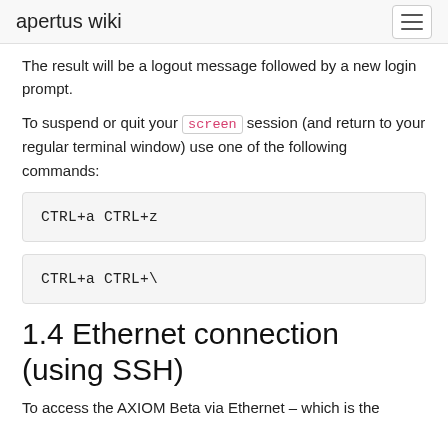apertus wiki
The result will be a logout message followed by a new login prompt.
To suspend or quit your screen session (and return to your regular terminal window) use one of the following commands:
CTRL+a CTRL+z
CTRL+a CTRL+\
1.4 Ethernet connection (using SSH)
To access the AXIOM Beta via Ethernet – which is the